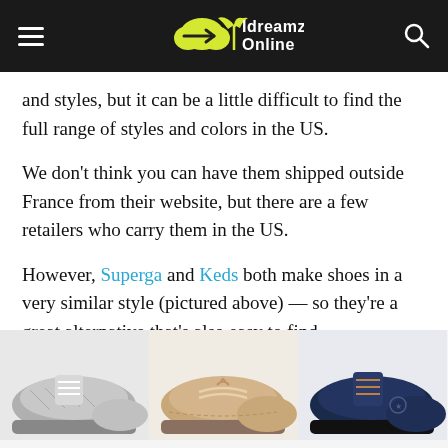Idreamz Online
and styles, but it can be a little difficult to find the full range of styles and colors in the US.
We don't think you can have them shipped outside France from their website, but there are a few retailers who carry them in the US.
However, Superga and Keds both make shoes in a very similar style (pictured above) — so they're a great alternative that's also easy to find.
[Figure (photo): Three pairs of shoes shown at the bottom: a grey mesh sneaker on the left, a tan boat shoe in the middle, and a dark navy lace-up shoe on the right.]